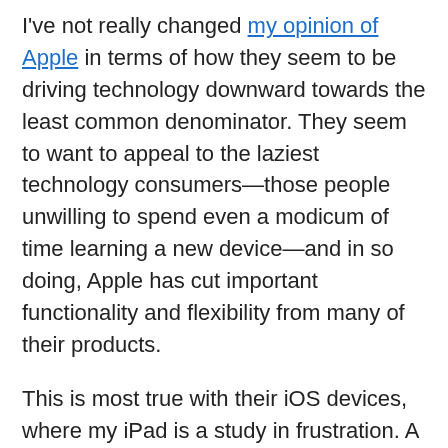I've not really changed my opinion of Apple in terms of how they seem to be driving technology downward towards the least common denominator. They seem to want to appeal to the laziest technology consumers—those people unwilling to spend even a modicum of time learning a new device—and in so doing, Apple has cut important functionality and flexibility from many of their products.
This is most true with their iOS devices, where my iPad is a study in frustration. A lack of customizability, widgets, file system access, and inter-application sharing makes the iPad a far less productive device than it could otherwise be. It's aimed squarely at the consumer of content, with only a nod here and there to someone who wants to get real work done. And the frustration builds once you consider just how good the iPad could be if it were just a little less simplistic.